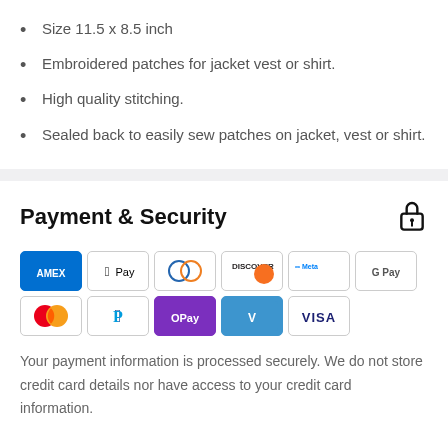Size 11.5 x 8.5 inch
Embroidered patches for jacket vest or shirt.
High quality stitching.
Sealed back to easily sew patches on jacket, vest or shirt.
Payment & Security
[Figure (infographic): Payment method icons: AMEX, Apple Pay, Diners Club, Discover, Meta Pay, Google Pay, Mastercard, PayPal, OPay, Venmo, Visa]
Your payment information is processed securely. We do not store credit card details nor have access to your credit card information.